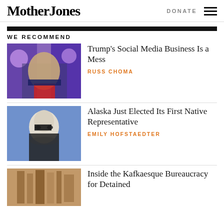Mother Jones | DONATE
WE RECOMMEND
[Figure (photo): Photo of Donald Trump at a rally with purple star decorations in background]
Trump’s Social Media Business Is a Mess
RUSS CHOMA
[Figure (photo): Black and white photo of a woman with glasses and dark hair]
Alaska Just Elected Its First Native Representative
EMILY HOFSTAEDTER
[Figure (photo): Photo with warm brown tones, partially visible]
Inside the Kafkaesque Bureaucracy for Detained...